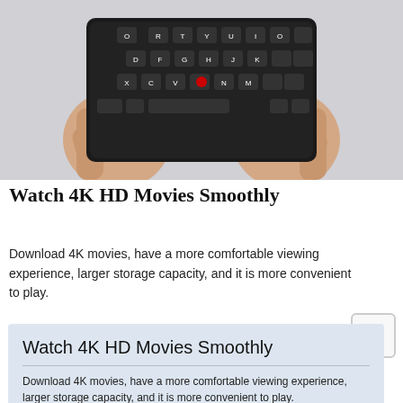[Figure (photo): Two hands holding a small black wireless keyboard with QWERTY layout and a red TrackPoint-style pointer button in the center, photographed from above against a light gray background.]
Watch 4K HD Movies Smoothly
Download 4K movies, have a more comfortable viewing experience, larger storage capacity, and it is more convenient to play.
Watch 4K HD Movies Smoothly
Download 4K movies, have a more comfortable viewing experience, larger storage capacity, and it is more convenient to play.